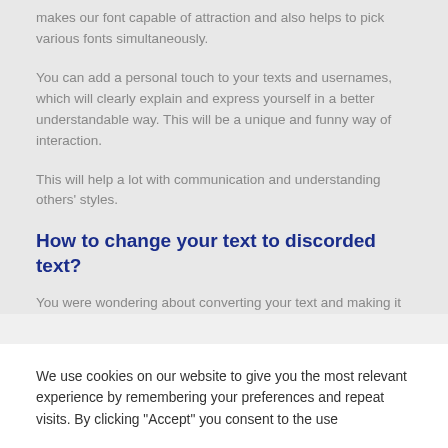makes our font capable of attraction and also helps to pick various fonts simultaneously.
You can add a personal touch to your texts and usernames, which will clearly explain and express yourself in a better understandable way. This will be a unique and funny way of interaction.
This will help a lot with communication and understanding others' styles.
How to change your text to discorded text?
You were wondering about converting your text and making it
We use cookies on our website to give you the most relevant experience by remembering your preferences and repeat visits. By clicking "Accept" you consent to the use